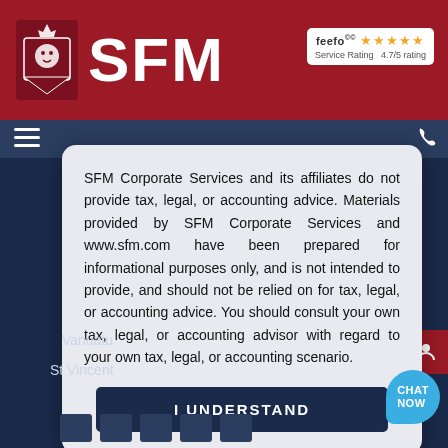[Figure (logo): SFM Corporate Services logo with lion shield icon and red header bar, Feefo 4.7/5 star rating badge]
SFM Corporate Services and its affiliates do not provide tax, legal, or accounting advice. Materials provided by SFM Corporate Services and www.sfm.com have been prepared for informational purposes only, and is not intended to provide, and should not be relied on for tax, legal, or accounting advice. You should consult your own tax, legal, or accounting advisor with regard to your own tax, legal, or accounting scenario.
I UNDERSTAND
Vanuatu
St Vincent